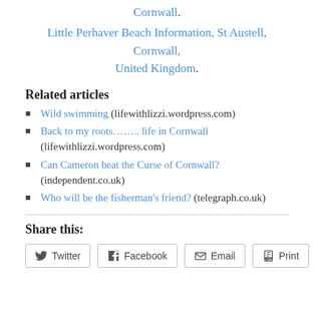Cornwall.
Little Perhaver Beach Information, St Austell, Cornwall, United Kingdom.
Related articles
Wild swimming (lifewithlizzi.wordpress.com)
Back to my roots…….. life in Cornwall (lifewithlizzi.wordpress.com)
Can Cameron beat the Curse of Cornwall? (independent.co.uk)
Who will be the fisherman's friend? (telegraph.co.uk)
Share this:
Twitter  Facebook  Email  Print